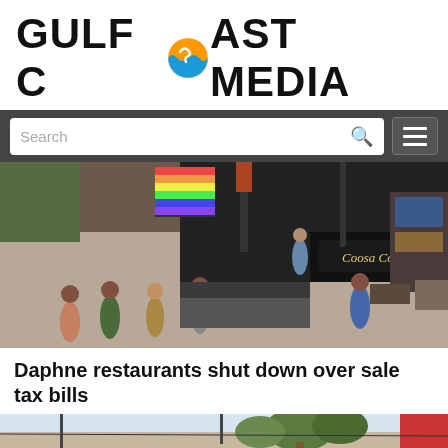GULF COAST MEDIA
[Figure (screenshot): Navigation bar with search box and hamburger menu on dark gray background]
[Figure (photo): Aerial view of an indoor trade show or expo floor with booths including 'Coosa Cotton', people browsing exhibits]
Daphne restaurants shut down over sale tax bills
[Figure (photo): Partial view of a building exterior with roof, trees, and a red wall visible — related to Daphne restaurant article]
0 SHARES — Share bar with Facebook, Twitter, Email, Pinterest, and More buttons